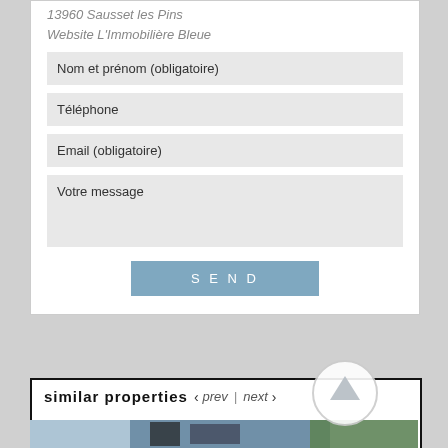13960 Sausset les Pins
Website L'Immobilière Bleue
Nom et prénom (obligatoire)
Téléphone
Email (obligatoire)
Votre message
SEND
similar properties
[Figure (photo): Exterior photo of a modern building with balconies against a blue sky with green trees]